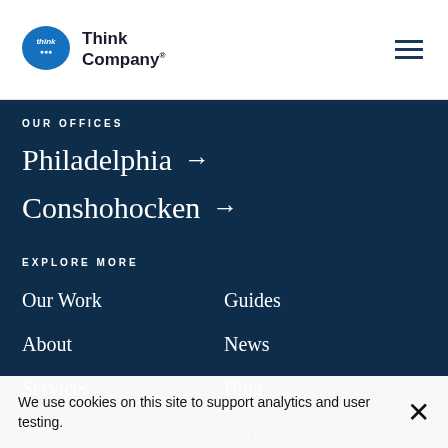Think Company
OUR OFFICES
Philadelphia →
Conshohocken →
EXPLORE MORE
Our Work
Guides
About
News
Services
Blog
Team
Careers
Process
Alumni
Events
Contact
We use cookies on this site to support analytics and user testing.